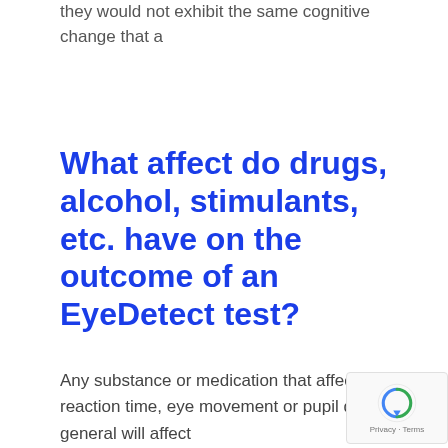they would not exhibit the same cognitive change that a
What affect do drugs, alcohol, stimulants, etc. have on the outcome of an EyeDetect test?
Any substance or medication that affects reaction time, eye movement or pupil dilation in general will affect